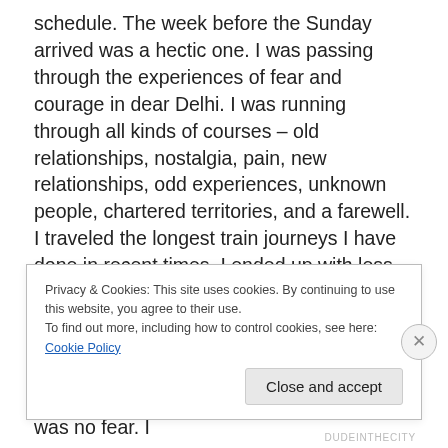schedule. The week before the Sunday arrived was a hectic one. I was passing through the experiences of fear and courage in dear Delhi. I was running through all kinds of courses – old relationships, nostalgia, pain, new relationships, odd experiences, unknown people, chartered territories, and a farewell. I traveled the longest train journeys I have done in recent times. I ended up with less water and less food. And I was happily, thoroughly exhausted. When I got back, I knew I had to recuperate. My friend, the haemmorhoid, struck back again, this time somewhat more painful. But this time, there was no fear. I
Privacy & Cookies: This site uses cookies. By continuing to use this website, you agree to their use.
To find out more, including how to control cookies, see here: Cookie Policy
Close and accept
DUDEINTHECITY